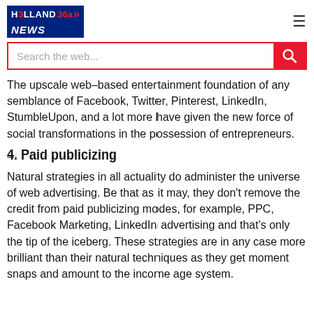HOLLAND 360 NEWS
[Figure (screenshot): Search the web... input field with red search button]
The upscale web-based entertainment foundation of any semblance of Facebook, Twitter, Pinterest, LinkedIn, StumbleUpon, and a lot more have given the new force of social transformations in the possession of entrepreneurs.
4. Paid publicizing
Natural strategies in all actuality do administer the universe of web advertising. Be that as it may, they don't remove the credit from paid publicizing modes, for example, PPC, Facebook Marketing, LinkedIn advertising and that's only the tip of the iceberg. These strategies are in any case more brilliant than their natural techniques as they get moment snaps and amount to the income age system.